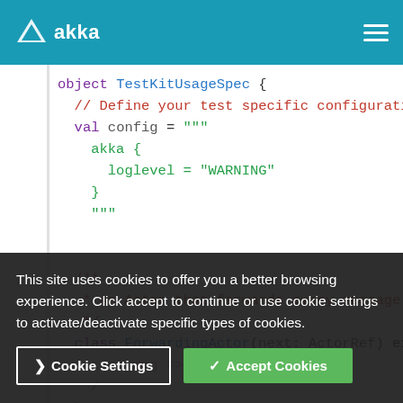akka (logo navigation bar)
[Figure (screenshot): Scala code snippet showing object TestKitUsageSpec with config val containing akka loglevel WARNING, a javadoc comment block, and class ForwardingActor definition]
This site uses cookies to offer you a better browsing experience. Click accept to continue or use cookie settings to activate/deactivate specific types of cookies.
Cookie Settings | Accept Cookies